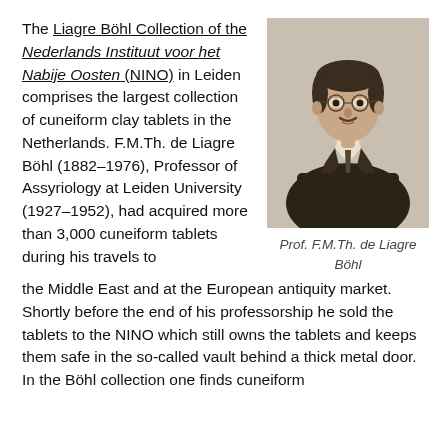The Liagre Böhl Collection of the Nederlands Instituut voor het Nabije Oosten (NINO) in Leiden comprises the largest collection of cuneiform clay tablets in the Netherlands. F.M.Th. de Liagre Böhl (1882–1976), Professor of Assyriology at Leiden University (1927–1952), had acquired more than 3,000 cuneiform tablets during his travels to the Middle East and at the European antiquity market. Shortly before the end of his professorship he sold the tablets to the NINO which still owns the tablets and keeps them safe in the so-called vault behind a thick metal door. In the Böhl collection one finds cuneiform
[Figure (photo): Black and white portrait photograph of Prof. F.M.Th. de Liagre Böhl, a man wearing glasses, suit and tie, shown from the chest up.]
Prof. F.M.Th. de Liagre Böhl